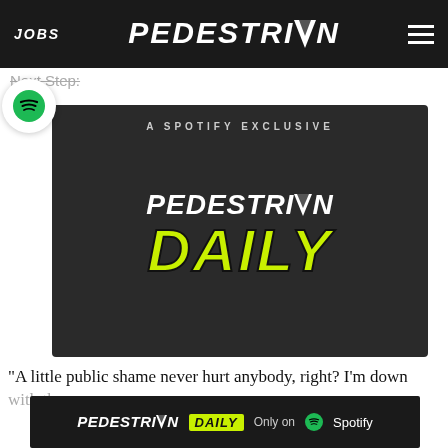JOBS | PEDESTRIAN | menu
Next Step:
[Figure (logo): Pedestrian Daily - A Spotify Exclusive podcast artwork on dark background with Spotify logo bubble. White PEDESTRIAN text and lime green DAILY text.]
“A little public shame never hurt anybody, right? I’m down with th
[Figure (logo): Pedestrian Daily podcast ad bar: PEDESTRIAN DAILY logo with Only on Spotify branding on dark background.]